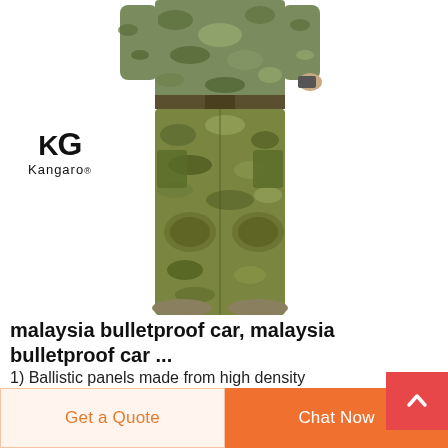[Figure (photo): Person wearing camouflage military/tactical pants and jacket (multicam pattern), shown from waist down. Kangaro brand logo visible in upper left of image area.]
malaysia bulletproof car, malaysia bulletproof car ...
1) Ballistic panels made from high density polyethylene fabric and are made to conform to the NIJ 0101.06 lev...